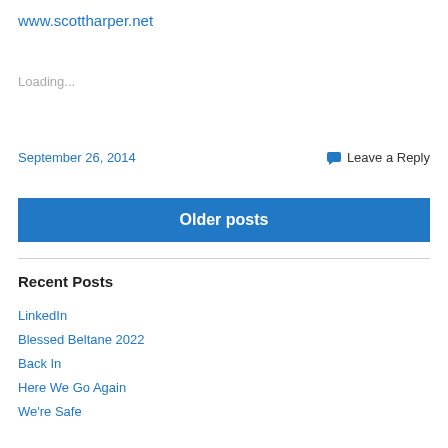www.scottharper.net
Loading...
September 26, 2014   Leave a Reply
Older posts
Recent Posts
LinkedIn
Blessed Beltane 2022
Back In
Here We Go Again
We're Safe